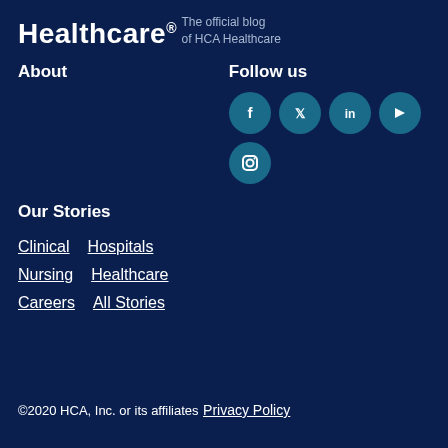Healthcare®
The official blog
of HCA Healthcare
About
Follow us
[Figure (other): Social media icons: Facebook, Twitter, LinkedIn, YouTube, Instagram]
Our Stories
Clinical   Hospitals
Nursing   Healthcare
Careers   All Stories
©2020 HCA, Inc. or its affiliates
Privacy Policy